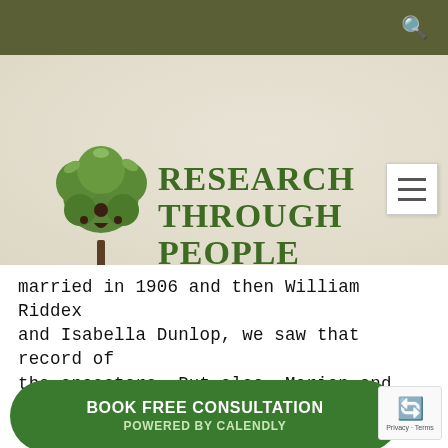Research Through People – The Friendly Professional Family History Service
[Figure (logo): Research Through People logo with tree illustration and tagline 'THE FRIENDLY PROFESSIONAL FAMILY HISTORY SERVICE']
married in 1906 and then William Riddex and Isabella Dunlop, we saw that record of the ancestors. But also, Marion and the family going out in 1909 and 1912, presumably the husband was out there, b[...] or seven c[...] es were like in those days. If they had to pay f[...] that out of their own pocket, you wou[...] think that would be very expensive, but
BOOK FREE CONSULTATION
POWERED BY CALENDLY